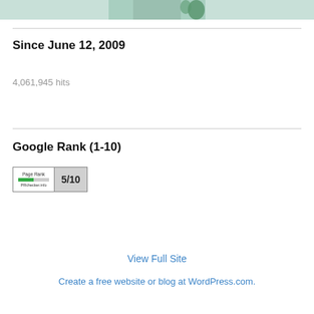[Figure (photo): Partial cropped image of a plant or decorative item, teal/green color, at the very top of the page]
Since June 12, 2009
4,061,945 hits
Google Rank (1-10)
[Figure (other): PageRank badge showing 5/10 with a green bar, labeled PRchecker.info]
View Full Site
Create a free website or blog at WordPress.com.